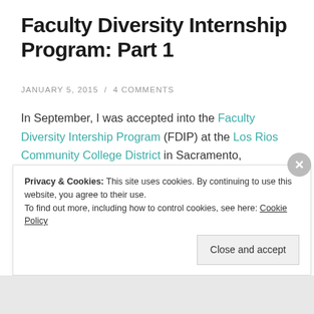Faculty Diversity Internship Program: Part 1
JANUARY 5, 2015 / 4 COMMENTS
In September, I was accepted into the Faculty Diversity Intership Program (FDIP) at the Los Rios Community College District in Sacramento, California.  The goal of the FDIP is to recruit prospective community college faculty members from a diverse range of backgrounds and prepare them to be successful as community college instructors. The program has two phases. In the fall,
Privacy & Cookies: This site uses cookies. By continuing to use this website, you agree to their use.
To find out more, including how to control cookies, see here: Cookie Policy
Close and accept